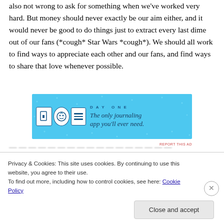also not wrong to ask for something when we've worked very hard. But money should never exactly be our aim either, and it would never be good to do things just to extract every last dime out of our fans (*cough* Star Wars *cough*). We should all work to find ways to appreciate each other and our fans, and find ways to share that love whenever possible.
[Figure (screenshot): Advertisement for Day One journaling app. Blue background with icons of a door, a person, and a notebook. Text reads 'DAY ONE' and 'The only journaling app you'll ever need.']
blurred background text
Privacy & Cookies: This site uses cookies. By continuing to use this website, you agree to their use.
To find out more, including how to control cookies, see here: Cookie Policy